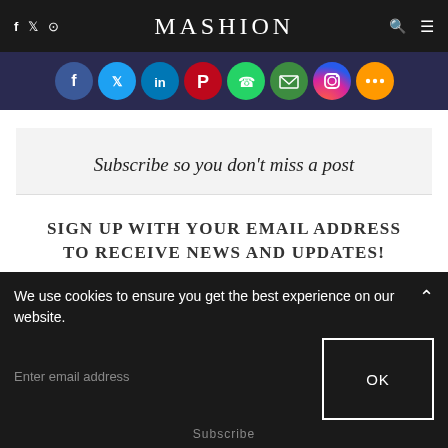f  ☁  ⊙   MASHION   🔍  ☰
[Figure (illustration): Row of social media sharing icons: Facebook (blue), Twitter (light blue), LinkedIn (dark blue), Pinterest (red), WhatsApp (green), Email/Mail (green), Instagram (gradient), More/share (orange)]
Subscribe so you don't miss a post
SIGN UP WITH YOUR EMAIL ADDRESS TO RECEIVE NEWS AND UPDATES!
We use cookies to ensure you get the best experience on our website.
Enter email address
OK